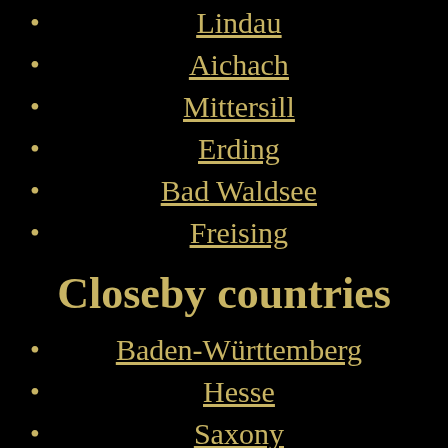Lindau
Aichach
Mittersill
Erding
Bad Waldsee
Freising
Closeby countries
Baden-Württemberg
Hesse
Saxony
Thuringia